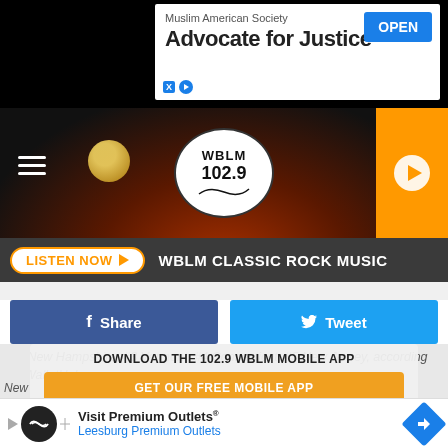[Figure (screenshot): Advertisement banner: Muslim American Society - Advocate for Justice with OPEN button]
[Figure (screenshot): WBLM 102.9 radio station header with logo, hamburger menu, and orange play button]
[Figure (screenshot): LISTEN NOW button and WBLM CLASSIC ROCK MUSIC text on dark bar]
[Figure (screenshot): Facebook Share and Twitter Tweet buttons]
[Figure (screenshot): Download the 102.9 WBLM Mobile App overlay with GET OUR FREE MOBILE APP button and Amazon Alexa logo]
#2 New Hampshire, #3 Vermont, #4 Connecticut, #5 New Jersey, according to WalletHub.
New England also showed strong rankings in the highest median income growth from 2019 to 2020: #1 Maine, # 4 Massachusetts, and #5 New Hampshire, according to WalletHub.
So wh...
[Figure (screenshot): Visit Premium Outlets advertisement banner - Leesburg Premium Outlets]